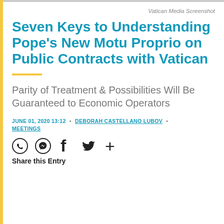Vatican Media Screenshot
Seven Keys to Understanding Pope's New Motu Proprio on Public Contracts with Vatican
Parity of Treatment & Possibilities Will Be Guaranteed to Economic Operators
JUNE 01, 2020 13:12 • DEBORAH CASTELLANO LUBOV • MEETINGS
[Figure (other): Social share icons: WhatsApp, Messenger, Facebook, Twitter, plus button]
Share this Entry